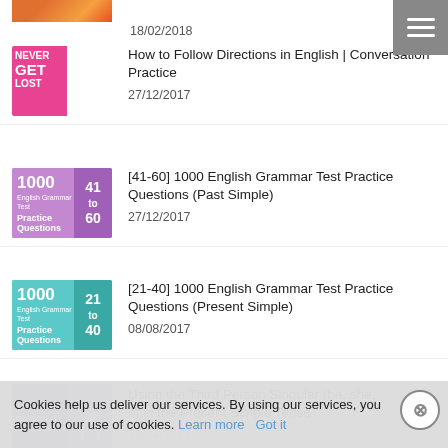[Figure (illustration): Partial thumbnail of a previous list item (cropped at top)]
18/02/2018
[Figure (illustration): Thumbnail: Never Get Lost directions sign image]
How to Follow Directions in English | Conversation Practice
27/12/2017
[Figure (illustration): Thumbnail: 1000 English Grammar Test Practice Questions 41 to 60 (purple)]
[41-60] 1000 English Grammar Test Practice Questions (Past Simple)
27/12/2017
[Figure (illustration): Thumbnail: 1000 English Grammar Test Practice Questions 21 to 40 (teal)]
[21-40] 1000 English Grammar Test Practice Questions (Present Simple)
08/08/2017
[Figure (illustration): Thumbnail: Third Person Singular purple thumbnail]
Using the Third Person Singular (he, she, it) in the Present Simple Tense
18/04/2017
Cookies help us deliver our services. By using our services, you agree to our use of cookies. Learn more  Got it